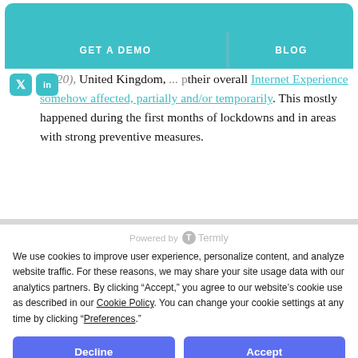GET A DEMO | BLOG
(2020), United Kingdom, ... their overall Internet Experience somehow affected, partially and/or temporarily. This mostly happened during the first months of lockdowns and in areas with strong preventive measures.
Powered by Termly
We use cookies to improve user experience, personalize content, and analyze website traffic. For these reasons, we may share your site usage data with our analytics partners. By clicking “Accept,” you agree to our website’s cookie use as described in our Cookie Policy. You can change your cookie settings at any time by clicking “Preferences.”
Decline
Accept
Preferences